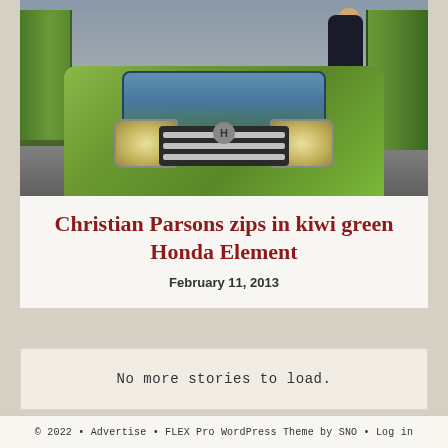[Figure (photo): A kiwi green Honda Element SUV photographed from the front, with a person visible near the open door. The vehicle is parked in a parking lot. The car's distinctive boxy front end, grille, headlights, and Honda logo are clearly visible.]
Christian Parsons zips in kiwi green Honda Element
February 11, 2013
No more stories to load.
© 2022 • Advertise • FLEX Pro WordPress Theme by SNO • Log in